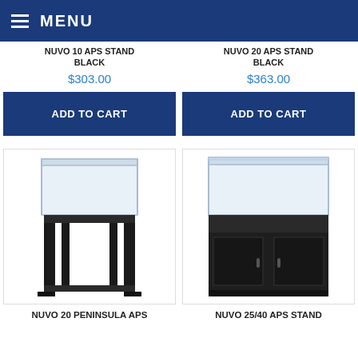MENU
NUVO 10 APS STAND BLACK
$303.00
NUVO 20 APS STAND BLACK
$363.00
ADD TO CART
ADD TO CART
[Figure (photo): NUVO 20 PENINSULA APS stand - black metal frame aquarium stand with open sides]
[Figure (photo): NUVO 25/40 APS stand - black cabinet-style aquarium stand with doors]
NUVO 20 PENINSULA APS
NUVO 25/40 APS STAND